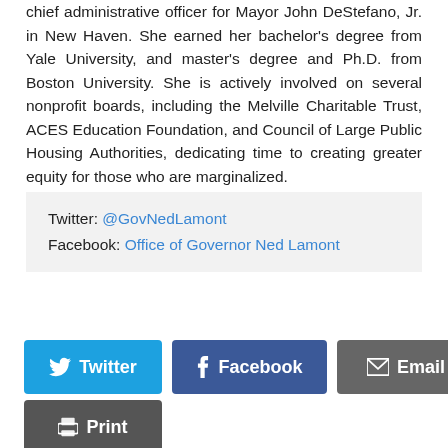chief administrative officer for Mayor John DeStefano, Jr. in New Haven. She earned her bachelor's degree from Yale University, and master's degree and Ph.D. from Boston University. She is actively involved on several nonprofit boards, including the Melville Charitable Trust, ACES Education Foundation, and Council of Large Public Housing Authorities, dedicating time to creating greater equity for those who are marginalized.
Twitter: @GovNedLamont
Facebook: Office of Governor Ned Lamont
[Figure (other): Social sharing buttons: Twitter (blue), Facebook (dark blue), Email (gray), Print (dark gray)]